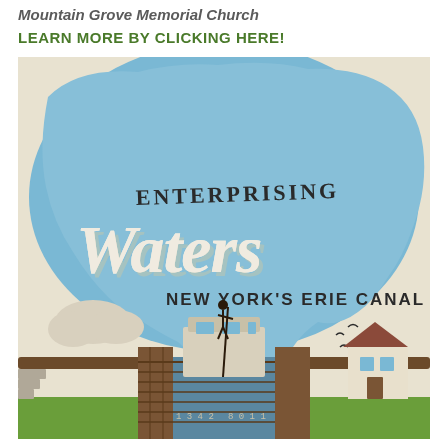Mountain Grove Memorial Church
LEARN MORE BY CLICKING HERE!
[Figure (illustration): Vintage-style travel poster illustration for 'Enterprising Waters: New York's Erie Canal'. Shows the state of Ohio shape in blue as background, with large stylized text reading 'ENTERPRISING WATERS NEW YORK'S ERIE CANAL'. In the foreground is a canal lock with a figure standing on a boat holding a pole, birds flying, and a house to the right. Green grass and stone steps visible at bottom.]